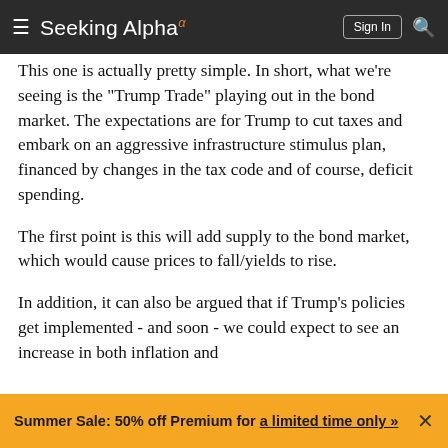Seeking Alpha
This one is actually pretty simple. In short, what we're seeing is the "Trump Trade" playing out in the bond market. The expectations are for Trump to cut taxes and embark on an aggressive infrastructure stimulus plan, financed by changes in the tax code and of course, deficit spending.
The first point is this will add supply to the bond market, which would cause prices to fall/yields to rise.
In addition, it can also be argued that if Trump's policies get implemented - and soon - we could expect to see an increase in both inflation and
Summer Sale: 50% off Premium for a limited time only »